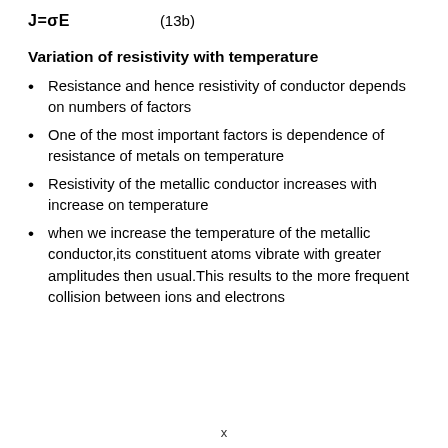Variation of resistivity with temperature
Resistance and hence resistivity of conductor depends on numbers of factors
One of the most important factors is dependence of resistance of metals on temperature
Resistivity of the metallic conductor increases with increase on temperature
when we increase the temperature of the metallic conductor,its constituent atoms vibrate with greater amplitudes then usual.This results to the more frequent collision between ions and electrons
x